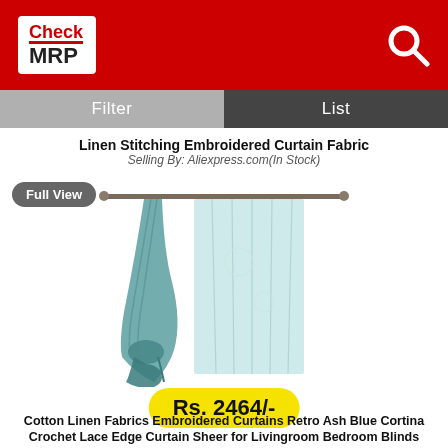[Figure (logo): Check MRP logo — white box with red 'Check' text and black 'MRP' text, on red background header with search icon]
Filter
List
Linen Stitching Embroidered Curtain Fabric
Selling By: Aliexpress.com(In Stock)
[Figure (photo): Teal/ash blue sheer curtain fabric — two panels on a rod, left panel draped and tied, right panel straight, on white background. Full View button overlay.]
Rs. 2464/-
Cotton Linen Fabrics Embroidered Curtains Retro Ash Blue Cortina Crochet Lace Edge Curtain Sheer for Livingroom Bedroom Blinds
Selling By: Aliexpress.com(In Stock)